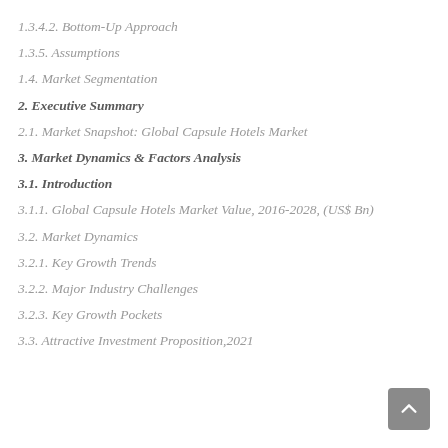1.3.4.2. Bottom-Up Approach
1.3.5. Assumptions
1.4. Market Segmentation
2. Executive Summary
2.1. Market Snapshot: Global Capsule Hotels Market
3. Market Dynamics & Factors Analysis
3.1. Introduction
3.1.1. Global Capsule Hotels Market Value, 2016-2028, (US$ Bn)
3.2. Market Dynamics
3.2.1. Key Growth Trends
3.2.2. Major Industry Challenges
3.2.3. Key Growth Pockets
3.3. Attractive Investment Proposition,2021